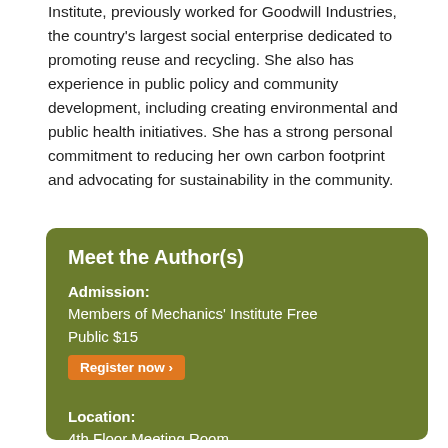Institute, previously worked for Goodwill Industries, the country's largest social enterprise dedicated to promoting reuse and recycling. She also has experience in public policy and community development, including creating environmental and public health initiatives. She has a strong personal commitment to reducing her own carbon footprint and advocating for sustainability in the community.
Meet the Author(s)
Admission: Members of Mechanics' Institute Free Public $15 Register now ›
Location: 4th Floor Meeting Room
Questions? Pam Troy - 415-393-0116